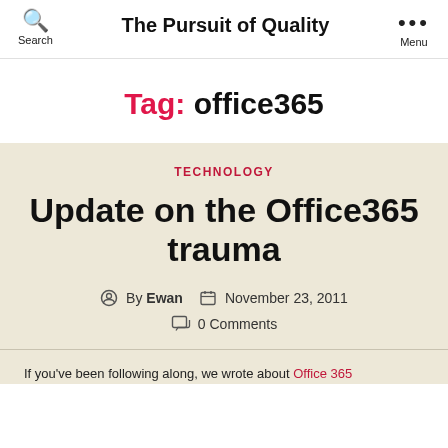The Pursuit of Quality
Tag: office365
TECHNOLOGY
Update on the Office365 trauma
By Ewan   November 23, 2011   0 Comments
If you've been following along, we wrote about Office 365